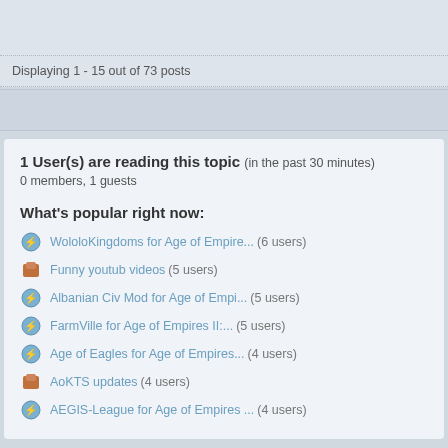Displaying 1 - 15 out of 73 posts
1 User(s) are reading this topic (in the past 30 minutes)
0 members, 1 guests
What's popular right now:
WololoKingdoms for Age of Empire... (6 users)
Funny youtub videos (5 users)
Albanian Civ Mod for Age of Empi... (5 users)
FarmVille for Age of Empires II:... (5 users)
Age of Eagles for Age of Empires... (4 users)
AoKTS updates (4 users)
AEGIS-League for Age of Empires ... (4 users)